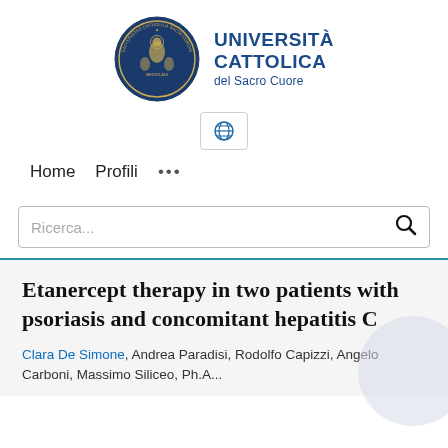[Figure (logo): Università Cattolica del Sacro Cuore logo with circular seal and university name]
[Figure (screenshot): Globe/language selector icon in a bordered box]
Home   Profili   ...
Ricerca...
Etanercept therapy in two patients with psoriasis and concomitant hepatitis C
Clara De Simone, Andrea Paradisi, Rodolfo Capizzi, Angelo Carboni, Massimo Siliceo, Ph.A...